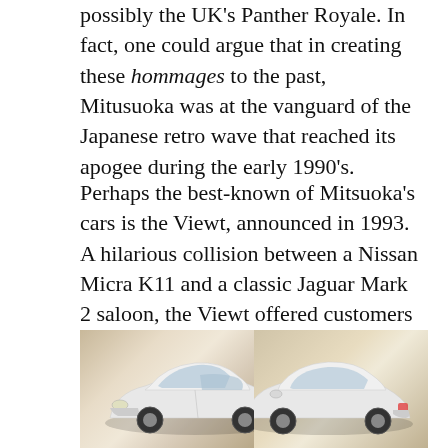possibly the UK's Panther Royale. In fact, one could argue that in creating these hommages to the past, Mitusuoka was at the vanguard of the Japanese retro wave that reached its apogee during the early 1990's.
Perhaps the best-known of Mitsuoka's cars is the Viewt, announced in 1993. A hilarious collision between a Nissan Micra K11 and a classic Jaguar Mark 2 saloon, the Viewt offered customers an irresistible combination of classic styling, traditional craftsmanship and the kind of fuel economy and reliability Jaguar Mark 2 owners could only dream about.
[Figure (photo): Two side-by-side photos of a white Mitsuoka Viewt car in motion against a blurred sandy/beige background. Left photo shows front-left view, right photo shows rear-right view of the same or similar vehicle.]